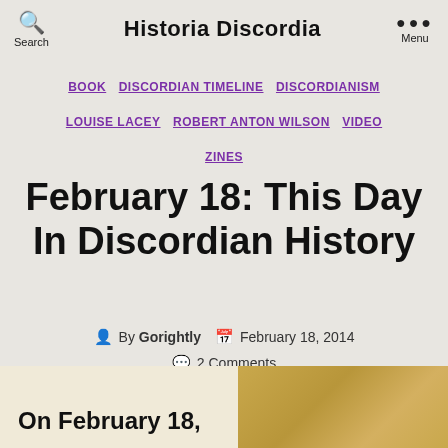Historia Discordia
BOOK  DISCORDIAN TIMELINE  DISCORDIANISM  LOUISE LACEY  ROBERT ANTON WILSON  VIDEO  ZINES
February 18: This Day In Discordian History
By Gorightly  February 18, 2014  2 Comments
On February 18,